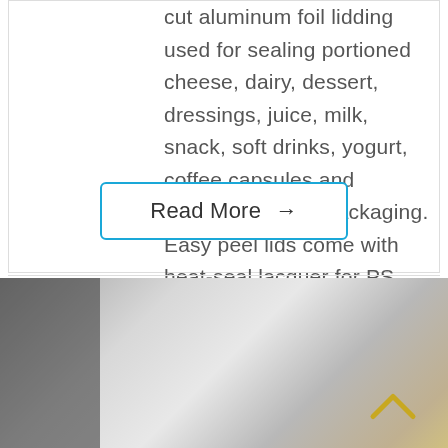cut aluminum foil lidding used for sealing portioned cheese, dairy, dessert, dressings, juice, milk, snack, soft drinks, yogurt, coffee capsules and readymade food packaging. Easy peel lids come with heat-seal lacquer for PS, PVC, PP and PET applications. Available in round, square or rectangular shape with
Read More →
[Figure (photo): Industrial machinery or foil/packaging production equipment, viewed from close angle, with a scroll-to-top chevron icon in the bottom right corner.]